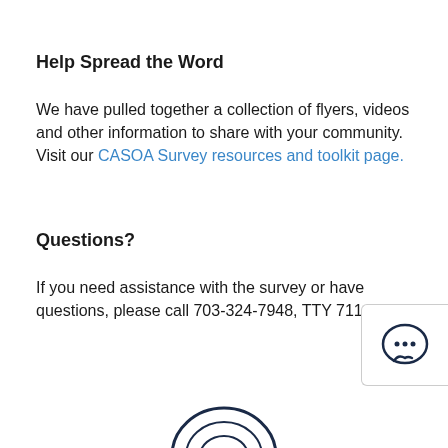Help Spread the Word
We have pulled together a collection of flyers, videos and other information to share with your community. Visit our CASOA Survey resources and toolkit page.
Questions?
If you need assistance with the survey or have questions, please call 703-324-7948, TTY 711.
[Figure (illustration): Chat widget icon with speech bubble containing ellipsis (...)]
[Figure (logo): Partial logo visible at bottom center of page]